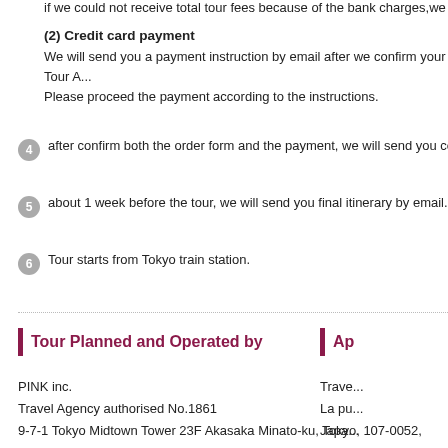if we could not receive total tour fees because of the bank charges,we would...
(2) Credit card payment
We will send you a payment instruction by email after we confirm your Tour A...
Please proceed the payment according to the instructions.
4 after confirm both the order form and the payment, we will send you confirma...
5 about 1 week before the tour, we will send you final itinerary by email.
6 Tour starts from Tokyo train station.
Tour Planned and Operated by
Ap...
PINK inc.
Travel Agency authorised No.1861
9-7-1 Tokyo Midtown Tower 23F Akasaka Minato-ku, Tokyo, 107-0052, Japan
Trave...
La pu...
Japa...
TEL:8...
email...
http:/...
In cha...